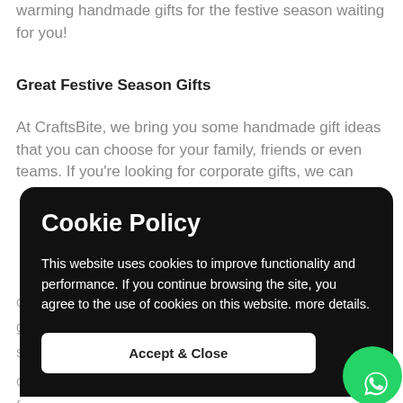warming handmade gifts for the festive season waiting for you!
Great Festive Season Gifts
At CraftsBite, we bring you some handmade gift ideas that you can choose for your family, friends or even teams. If you're looking for corporate gifts, we can
Cookie Policy
This website uses cookies to improve functionality and performance. If you continue browsing the site, you agree to the use of cookies on this website. more details.
Accept & Close